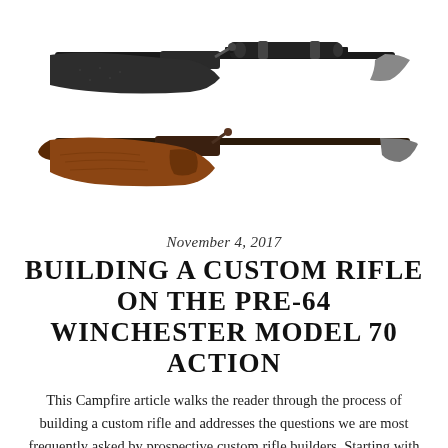[Figure (photo): Two rifles shown horizontally. Top rifle has a black synthetic stock with a rifle scope mounted. Bottom rifle has a brown walnut wood stock. Both are bolt-action rifles photographed against a white background.]
November 4, 2017
BUILDING A CUSTOM RIFLE ON THE PRE-64 WINCHESTER MODEL 70 ACTION
This Campfire article walks the reader through the process of building a custom rifle and addresses the questions we are most frequently asked by prospective custom rifle builders. Starting with selecting a receiver, and working all the way through choosing